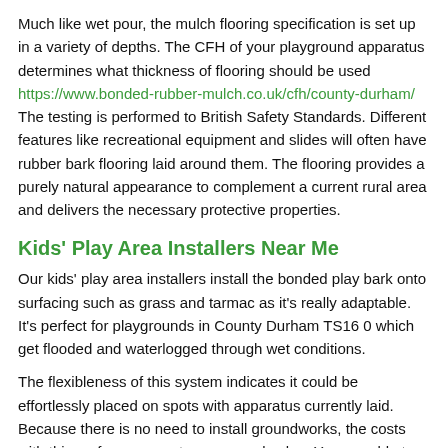Much like wet pour, the mulch flooring specification is set up in a variety of depths. The CFH of your playground apparatus determines what thickness of flooring should be used https://www.bonded-rubber-mulch.co.uk/cfh/county-durham/ The testing is performed to British Safety Standards. Different features like recreational equipment and slides will often have rubber bark flooring laid around them. The flooring provides a purely natural appearance to complement a current rural area and delivers the necessary protective properties.
Kids' Play Area Installers Near Me
Our kids' play area installers install the bonded play bark onto surfacing such as grass and tarmac as it's really adaptable. It's perfect for playgrounds in County Durham TS16 0 which get flooded and waterlogged through wet conditions.
The flexibleness of this system indicates it could be effortlessly placed on spots with apparatus currently laid. Because there is no need to install groundworks, the costs with this surface come at a very good value. You are able to obtain a fantastic value price from our impressive affordable prices for the work.